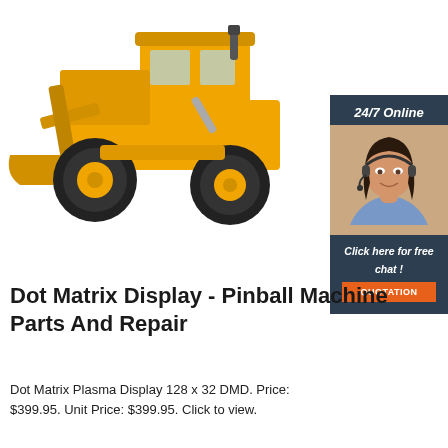[Figure (photo): Yellow construction front loader / bulldozer on white background]
[Figure (infographic): 24/7 Online chat widget with woman wearing headset, 'Click here for free chat!' text and orange QUOTATION button]
Dot Matrix Display - Pinball Machine Parts And Repair
Dot Matrix Plasma Display 128 x 32 DMD. Price: $399.95. Unit Price: $399.95. Click to view.